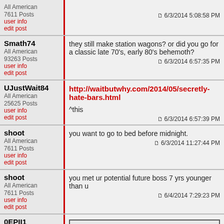All American
7611 Posts
user info
edit post | 6/3/2014 5:08:58 PM
Smath74
All American
93263 Posts
user info
edit post | they still make station wagons? or did you go for a classic late 70's, early 80's behemoth? | 6/3/2014 6:57:35 PM
UJustWait84
All American
25625 Posts
user info
edit post | http://waitbutwhy.com/2014/05/secretly-hate-bars.html
^this | 6/3/2014 6:57:39 PM
shoot
All American
7611 Posts
user info
edit post | you want to go to bed before midnight. | 6/3/2014 11:27:44 PM
shoot
All American
7611 Posts
user info
edit post | you met ur potential future boss 7 yrs younger than u | 6/4/2014 7:29:23 PM
0EPII1
All American
42319 Posts
user info
edit post | Quote: "they still make station wagons?"